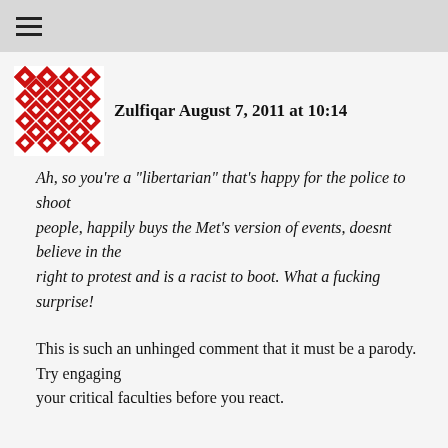☰
[Figure (illustration): Red and white geometric diamond/square pattern avatar image]
Zulfiqar August 7, 2011 at 10:14
Ah, so you're a "libertarian" that's happy for the police to shoot people, happily buys the Met's version of events, doesnt believe in the right to protest and is a racist to boot. What a fucking surprise!
This is such an unhinged comment that it must be a parody. Try engaging your critical faculties before you react.